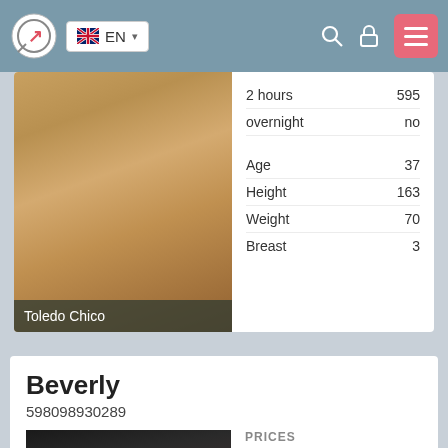EN navigation header with logo, language selector, search, lock, and menu icons
|  |  |
| --- | --- |
| 2 hours | 595 |
| overnight | no |
| Age | 37 |
| Height | 163 |
| Weight | 70 |
| Breast | 3 |
Toledo Chico
Beverly
598098930289
| PRICES |  |
| --- | --- |
| 1 hour | 350 |
| 2 hours | 525 |
| overnight | no |
Age   18